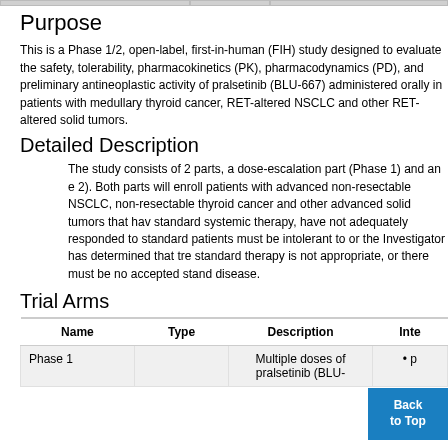Purpose
This is a Phase 1/2, open-label, first-in-human (FIH) study designed to evaluate the safety, tolerability, pharmacokinetics (PK), pharmacodynamics (PD), and preliminary antineoplastic activity of pralsetinib (BLU-667) administered orally in patients with medullary thyroid cancer, RET-altered NSCLC and other RET-altered solid tumors.
Detailed Description
The study consists of 2 parts, a dose-escalation part (Phase 1) and an e 2). Both parts will enroll patients with advanced non-resectable NSCLC, non-resectable thyroid cancer and other advanced solid tumors that hav standard systemic therapy, have not adequately responded to standard patients must be intolerant to or the Investigator has determined that tre standard therapy is not appropriate, or there must be no accepted stand disease.
Trial Arms
| Name | Type | Description | Inter |
| --- | --- | --- | --- |
| Phase 1 |  | Multiple doses of pralsetinib (BLU- | • p |